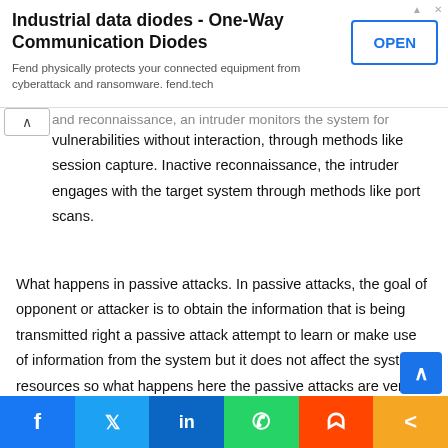[Figure (other): Advertisement banner for 'Industrial data diodes - One-Way Communication Diodes' by fend.tech with an OPEN button]
vulnerabilities without interaction, through methods like session capture. Inactive reconnaissance, the intruder engages with the target system through methods like port scans.
What happens in passive attacks. In passive attacks, the goal of opponent or attacker is to obtain the information that is being transmitted right a passive attack attempt to learn or make use of information from the system but it does not affect the system resources so what happens here the passive attacks are very difficult to detect because they do not involve the change of data right the passive attacks do not involve the alteration of data, therefore, these attacks are very difficult to detect
[Figure (other): Social media sharing bar with Facebook, Twitter, LinkedIn, WhatsApp, Reddit, and share buttons]